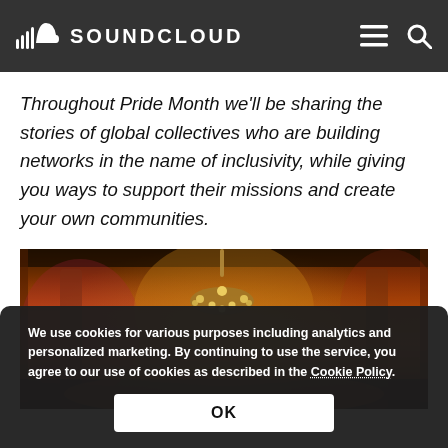SOUNDCLOUD
Throughout Pride Month we’ll be sharing the stories of global collectives who are building networks in the name of inclusivity, while giving you ways to support their missions and create your own communities.
[Figure (photo): Interior of a grand hall decorated with warm orange and red lighting, a chandelier visible at center, crowd of people below, vibrant colorful event atmosphere]
We use cookies for various purposes including analytics and personalized marketing. By continuing to use the service, you agree to our use of cookies as described in the Cookie Policy.
OK